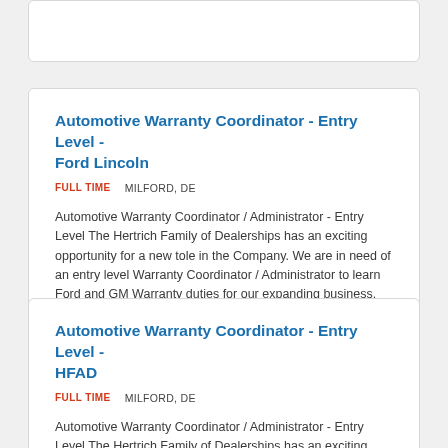Automotive Warranty Coordinator - Entry Level - Ford Lincoln
FULL TIME    MILFORD, DE
Automotive Warranty Coordinator / Administrator - Entry Level The Hertrich Family of Dealerships has an exciting opportunity for a new tole in the Company. We are in need of an entry level Warranty Coordinator / Administrator to learn Ford and GM Warranty duties for our expanding business. If...
Automotive Warranty Coordinator - Entry Level - HFAD
FULL TIME    MILFORD, DE
Automotive Warranty Coordinator / Administrator - Entry Level The Hertrich Family of Dealerships has an exciting opportunity for a new tole in the Company. We are in need of an entry level